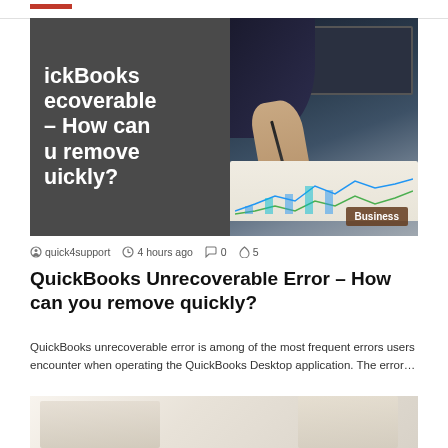[Figure (illustration): Hero banner image for a QuickBooks article. Left half: dark gray background with white bold text reading 'QuickBooks Unrecoverable Error – How can you remove quickly?'. Right half: photo of a person's hand holding a pen over financial charts/documents on a desk, with a laptop in background. Bottom right corner has a 'Business' category badge in brown.]
quick4support  4 hours ago  0  5
QuickBooks Unrecoverable Error – How can you remove quickly?
QuickBooks unrecoverable error is among of the most frequent errors users encounter when operating the QuickBooks Desktop application. The error…
[Figure (photo): Partial view of a second article's thumbnail image showing two people, partially cropped at the bottom of the page.]